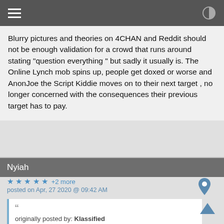Blurry pictures and theories on 4CHAN and Reddit should not be enough validation for a crowd that runs around stating "question everything " but sadly it usually is. The Online Lynch mob spins up, people get doxed or worse and AnonJoe the Script Kiddie moves on to their next target , no longer concerned with the consequences their previous target has to pay.
Nyiah
★ ★ ★ ★ ★ +2 more
posted on Apr, 27 2020 @ 09:42 AM
originally posted by: Klassified
a reply to: opethPA
This story is a great way to shame anyone who disagrees with the official narrative, which is likely CNN's main interest in it.